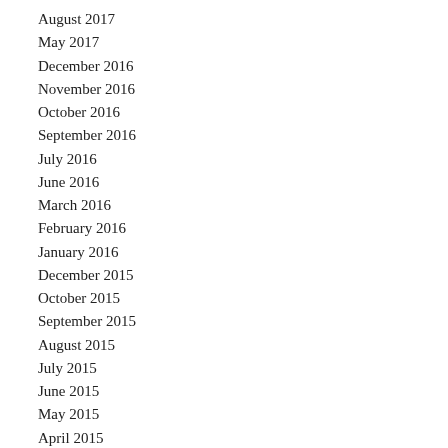August 2017
May 2017
December 2016
November 2016
October 2016
September 2016
July 2016
June 2016
March 2016
February 2016
January 2016
December 2015
October 2015
September 2015
August 2015
July 2015
June 2015
May 2015
April 2015